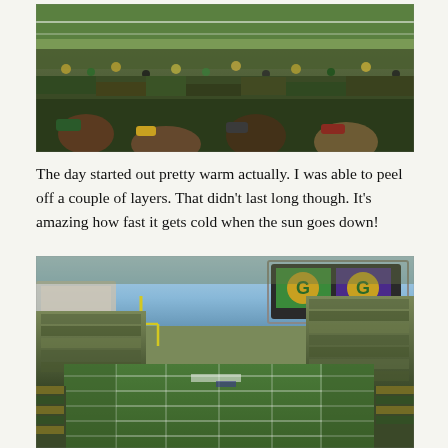[Figure (photo): Aerial view of a packed football stadium crowd from the stands, showing the field and fans wearing green and yellow (Green Bay Packers game). Cold weather game.]
The day started out pretty warm actually. I was able to peel off a couple of layers. That didn't last long though. It's amazing how fast it gets cold when the sun goes down!
[Figure (photo): Wide panoramic view of Lambeau Field (Green Bay Packers stadium) from upper section, showing the full field, yellow goal posts, packed stands of fans in green and gold, and the large scoreboard/jumbotron with the Green Bay G logo visible.]